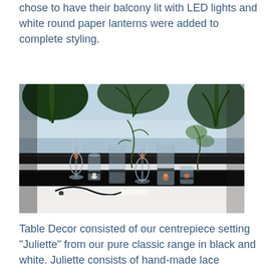chose to have their balcony lit with LED lights and white round paper lanterns were added to complete styling.
[Figure (photo): A wedding reception table centrepiece setting photographed at dusk on a balcony. Multiple glass vases, wine glasses, candle holders with lit candles, and floral greenery arranged on a mirrored table runner. Palm trees and water visible in background.]
Table Decor consisted of our centrepiece setting "Juliette" from our pure classic range in black and white. Juliette consists of hand-made lace wrapped bottles and votive holders detailed with black & white ribbon and